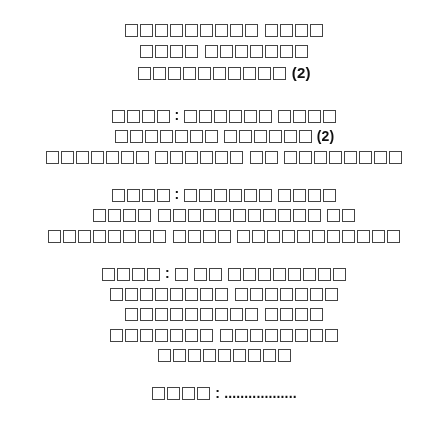[Non-Latin script title block with (2)]
[Non-Latin script section header with (2) and subtitle]
[Non-Latin script section header with subtitle]
[Non-Latin script multi-line section block]
[Non-Latin script text with dotted line]